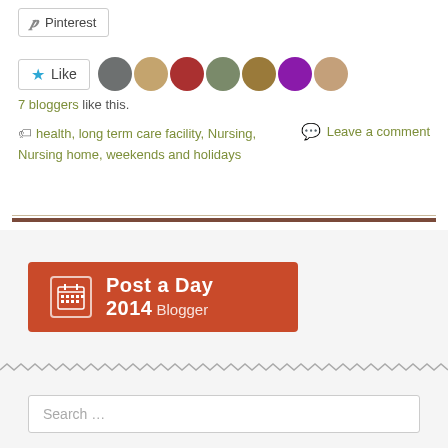[Figure (screenshot): Pinterest share button]
[Figure (screenshot): Like button with 7 blogger avatars]
7 bloggers like this.
health, long term care facility, Nursing, Nursing home, weekends and holidays
Leave a comment
[Figure (screenshot): Post a Day 2014 Blogger badge widget]
Search ...